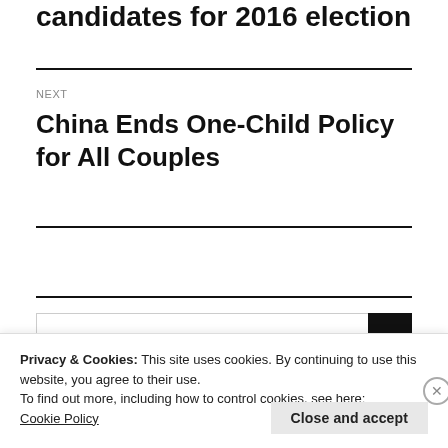candidates for 2016 election
NEXT
China Ends One-Child Policy for All Couples
Privacy & Cookies: This site uses cookies. By continuing to use this website, you agree to their use.
To find out more, including how to control cookies, see here:
Cookie Policy
Close and accept